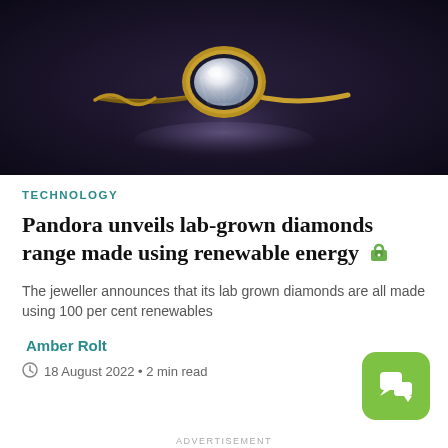[Figure (photo): A gold diamond solitaire ring with a round brilliant-cut diamond in a bezel setting, photographed on a dark navy/purple background with light reflection beneath]
TECHNOLOGY
Pandora unveils lab-grown diamonds range made using renewable energy 🔒
The jeweller announces that its lab grown diamonds are all made using 100 per cent renewables
Amber Rolt
18 August 2022 • 2 min read
ADVERTISEMENT